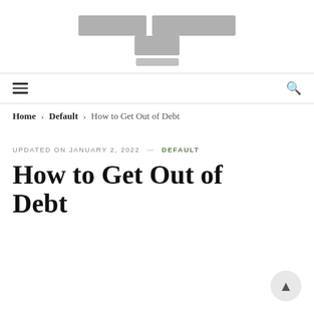[REDACTED SITE TITLE] [REDACTED SUBTITLE]
Home > Default > How to Get Out of Debt
UPDATED ON JANUARY 2, 2022 — DEFAULT
How to Get Out of Debt